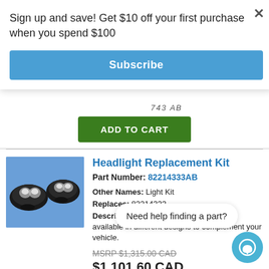Sign up and save! Get $10 off your first purchase when you spend $100
Subscribe
ADD TO CART
Headlight Replacement Kit
Part Number: 82214333AB
Other Names: Light Kit
Replaces: 82214333
Description: Accessory Headlamps are available in different designs to complement your vehicle.
MSRP $1,315.00 CAD
$1,101.60 CAD
ADD TO CART
Need help finding a part?